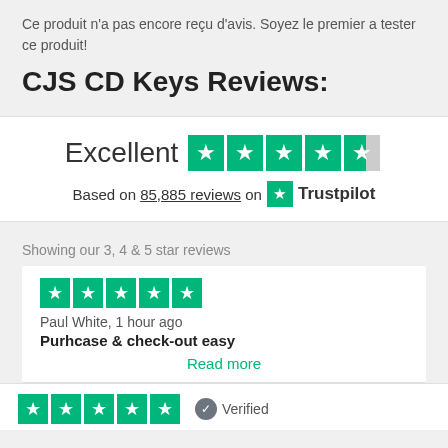Ce produit n'a pas encore reçu d'avis. Soyez le premier a tester ce produit!
CJS CD Keys Reviews:
[Figure (infographic): Trustpilot rating widget showing Excellent rating with 4.5 stars, based on 85,885 reviews on Trustpilot]
Showing our 3, 4 & 5 star reviews
[Figure (infographic): 5-star Trustpilot rating for review by Paul White]
Paul White, 1 hour ago
Purhcase & check-out easy
Read more
[Figure (infographic): 5-star Trustpilot rating with Verified badge for next review]